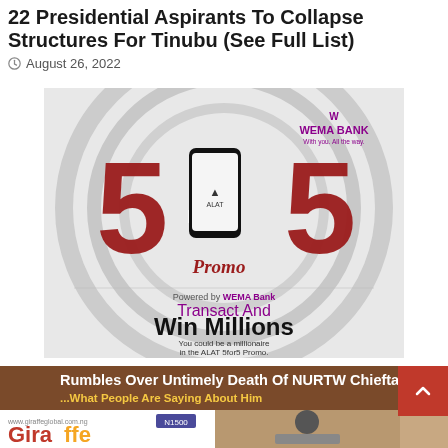22 Presidential Aspirants To Collapse Structures For Tinubu (See Full List)
August 26, 2022
[Figure (advertisement): Wema Bank ALAT 5for5 Promo advertisement. Shows large red '5 FOR 5' text with a smartphone displaying the ALAT app logo. Text reads: 'Transact And Win Millions. You could be a millionaire in the ALAT 5for5 Promo. Download ALAT & Sign Up Now.' Wema Bank logo in top right. Google Play and App Store download buttons at bottom.]
[Figure (advertisement): News article banner: 'Rumbles Over Untimely Death Of NURTW Chieftain, No Sto...What People Are Saying About Him'. Shows Giraffe magazine cover (N1500) on left and a portrait photo of a man in cap on right.]